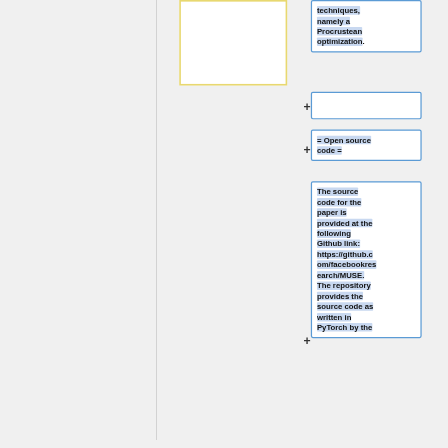techniques, namely a Procrustean optimization.
= Open source code =
The source code for the paper is provided at the following Github link: https://github.com/facebookresearch/MUSE. The repository provides the source code as written in PyTorch by the